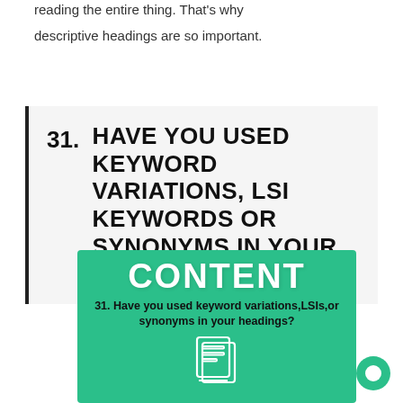reading the entire thing. That's why descriptive headings are so important.
31. HAVE YOU USED KEYWORD VARIATIONS, LSI KEYWORDS OR SYNONYMS IN YOUR HEADINGS?
[Figure (infographic): Green infographic card with title 'CONTENT' and text '31. Have you used keyword variations,LSIs,or synonyms in your headings?' with a document/content icon at the bottom.]